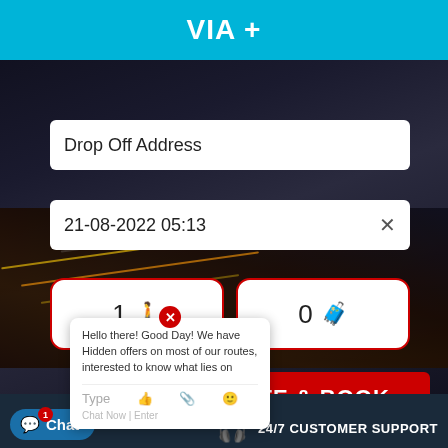VIA +
Drop Off Address
21-08-2022 05:13
1 (passenger icon)
0 (luggage icon)
Hello there! Good Day! We have Hidden offers on most of our routes, interested to know what lies on ...
Type
Chat Now | Enter
GET QUOTE & BOOK
Chat  24/7 CUSTOMER SUPPORT